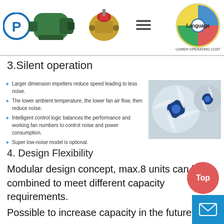Company logo / navigation header with compressor image, valve image, menu icon, and Language badge
3.Silent operation
Larger dimension impellers reduce speed leading to less noise.
The lower ambient temperature, the lower fan air flow, then reduce noise.
Intelligent control logic balances the performance and working fan numbers to control noise and power consumption.
Super low-noise model is optional.
[Figure (photo): Close-up photo of white fan impellers with blue centers]
4. Design Flexibility
Modular design concept, max.8 units can be combined to meet different capacity requirements.
Possible to increase capacity in the future expans…